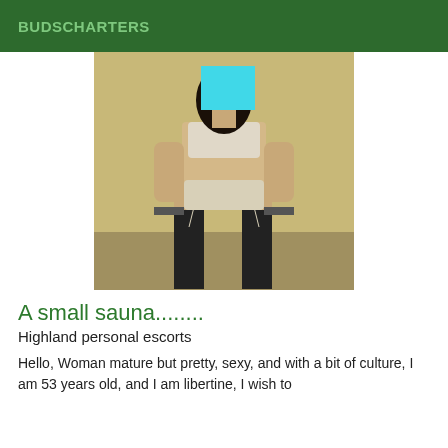BUDSCHARTERS
[Figure (photo): A person posing with face blurred by a cyan/blue rectangle, wearing lingerie and dark stockings, taken in a room with yellow walls.]
A small sauna........
Highland personal escorts
Hello, Woman mature but pretty, sexy, and with a bit of culture, I am 53 years old, and I am libertine, I wish to